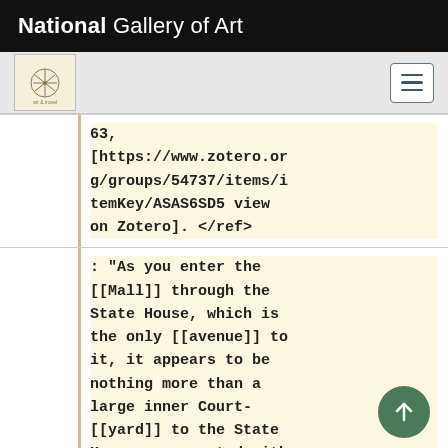National Gallery of Art
[Figure (logo): Navigation bar with art icon logo and hamburger menu button]
63,
[https://www.zotero.org/groups/54737/items/itemKey/ASAS6SD5 view on Zotero]. </ref>
: "As you enter the [[Mall]] through the State House, which is the only [[avenue]] to it, it appears to be nothing more than a large inner Court-[[yard]] to the State House, ornamented with trees and [[walk]]s. But here is a fine display of rural fancy